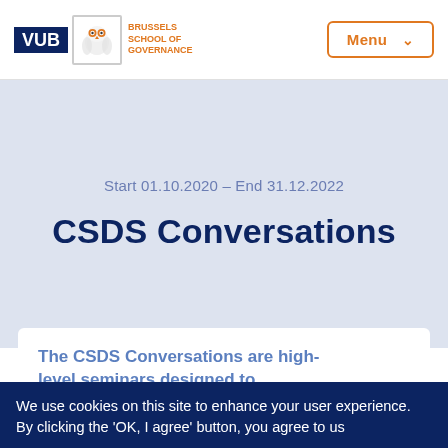VUB | Brussels School of Governance | Menu
Start 01.10.2020 - End 31.12.2022
CSDS Conversations
The CSDS Conversations are high-level seminars designed to
We use cookies on this site to enhance your user experience. By clicking the 'OK, I agree' button, you agree to us